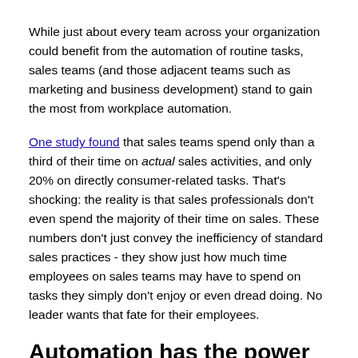While just about every team across your organization could benefit from the automation of routine tasks, sales teams (and those adjacent teams such as marketing and business development) stand to gain the most from workplace automation.
One study found that sales teams spend only than a third of their time on actual sales activities, and only 20% on directly consumer-related tasks. That's shocking: the reality is that sales professionals don't even spend the majority of their time on sales. These numbers don't just convey the inefficiency of standard sales practices - they show just how much time employees on sales teams may have to spend on tasks they simply don't enjoy or even dread doing. No leader wants that fate for their employees.
Automation has the power to